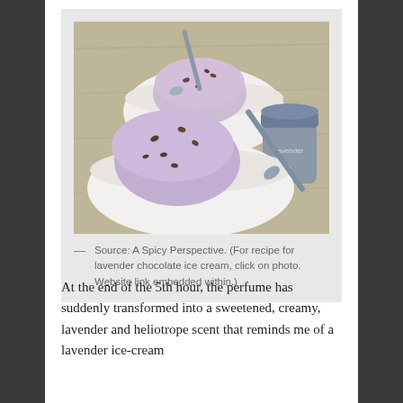[Figure (photo): Two white bowls containing scoops of lavender chocolate ice cream with spoons, alongside a small jar, photographed on a wooden surface.]
— Source: A Spicy Perspective. (For recipe for lavender chocolate ice cream, click on photo. Website link embedded within.)
At the end of the 5th hour, the perfume has suddenly transformed into a sweetened, creamy, lavender and heliotrope scent that reminds me of a lavender ice-cream